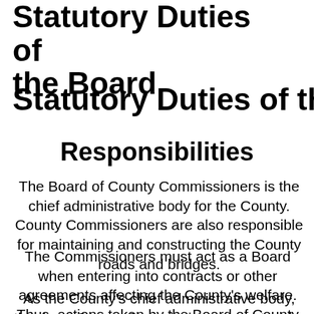Statutory Duties of the Board
Statutory Duties of the Boa
Responsibilities
The Board of County Commissioners is the chief administrative body for the County. County Commissioners are also responsible for maintaining and constructing the County roads and bridges.
The Commissioners must act as a Board when entering into contracts or other agreements affecting the County's welfare. Thus, actions taken by the Board of County Commissioners' business meetings are open to the public.
As the County's chief administrative body, the three County Commissioners must make major financial decisions and more. The Board also will list...